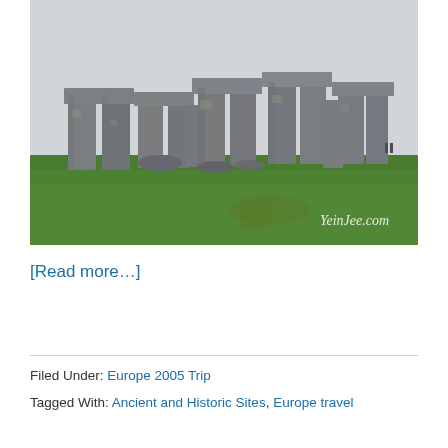[Figure (photo): Photograph of Stonehenge prehistoric monument on a green grass field under an overcast sky, with watermark 'YeinJee.com' in white text at the bottom right of the image.]
[Read more…]
Filed Under: Europe 2005 Trip
Tagged With: Ancient and Historic Sites, Europe travel